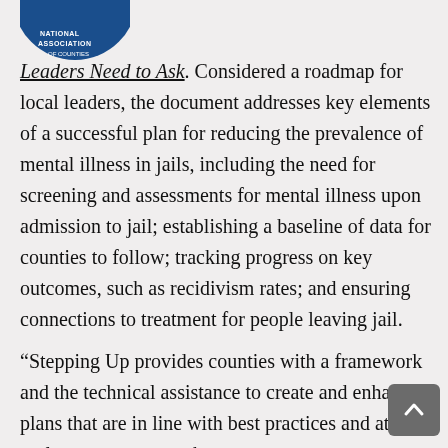[Figure (logo): Circular blue logo/seal partially visible at top left corner of page]
Leaders Need to Ask. Considered a roadmap for local leaders, the document addresses key elements of a successful plan for reducing the prevalence of mental illness in jails, including the need for screening and assessments for mental illness upon admission to jail; establishing a baseline of data for counties to follow; tracking progress on key outcomes, such as recidivism rates; and ensuring connections to treatment for people leaving jail.
“Stepping Up provides counties with a framework and the technical assistance to create and enhance plans that are in line with best practices and at a scale necessary to make an